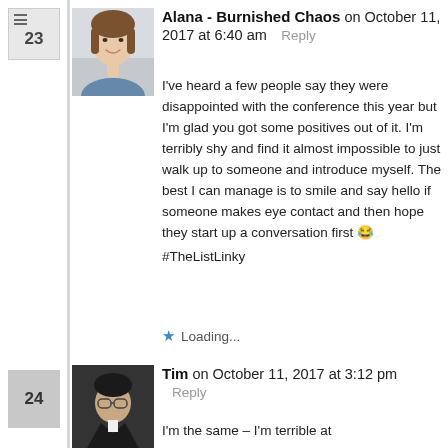23
[Figure (photo): Profile photo of a woman with brown hair, smiling, light background]
Alana - Burnished Chaos on October 11, 2017 at 6:40 am   Reply
I've heard a few people say they were disappointed with the conference this year but I'm glad you got some positives out of it. I'm terribly shy and find it almost impossible to just walk up to someone and introduce myself. The best I can manage is to smile and say hello if someone makes eye contact and then hope they start up a conversation first 😂 #TheListLinky
Loading...
24
[Figure (photo): Profile photo of a man with glasses, wearing a bow tie, dark background]
Tim on October 11, 2017 at 3:12 pm   Reply
I'm the same – I'm terrible at